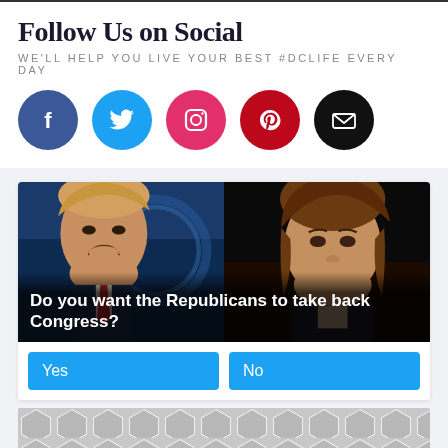Follow Us on Social
WE'LL HELP YOU LIVE YOUR BEST #DCLIFE EVERY DAY
[Figure (infographic): Five social media icon circles: Facebook (dark blue), Twitter (light blue), Instagram (pink/magenta), Pinterest (red), Email (black)]
[Figure (photo): Poll card with photo of two political figures side by side. Text overlay reads: 'Do you want the Republicans to take back Congress?' with Yes and No buttons below.]
[Figure (other): Geometric hexagon/diamond pattern advertisement placeholder in gray]